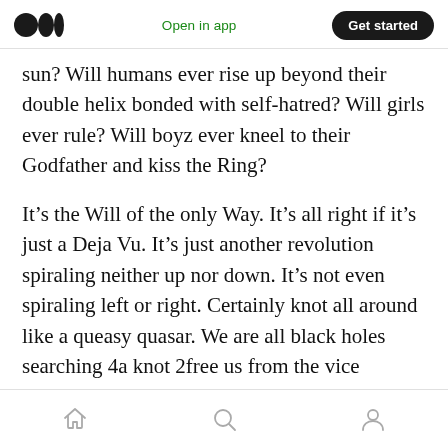Open in app | Get started
sun? Will humans ever rise up beyond their double helix bonded with self-hatred? Will girls ever rule? Will boyz ever kneel to their Godfather and kiss the Ring?
It’s the Will of the only Way. It’s all right if it’s just a Deja Vu. It’s just another revolution spiraling neither up nor down. It’s not even spiraling left or right. Certainly knot all around like a queasy quasar. We are all black holes searching 4a knot 2free us from the vice crushing our Ego to nothing @all without God.
Home | Search | Profile